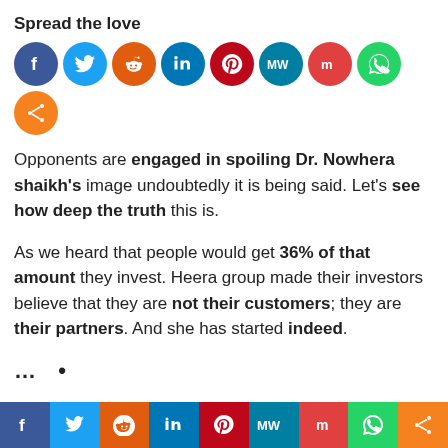Spread the love
[Figure (other): Social share icon circles: Facebook, Twitter, Reddit, LinkedIn, Pinterest, MeWe, Mix, WhatsApp, Share]
Opponents are engaged in spoiling Dr. Nowhera shaikh's image undoubtedly it is being said. Let's see how deep the truth this is.
As we heard that people would get 36% of that amount they invest. Heera group made their investors believe that they are not their customers; they are their partners. And she has started indeed.
[Figure (other): Bottom social share bar: Facebook, Twitter, Reddit, LinkedIn, Pinterest, MeWe, Mix, WhatsApp, Share]